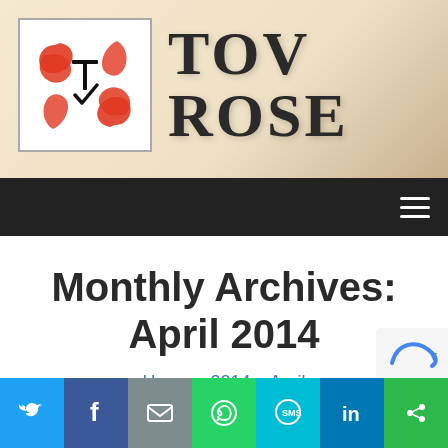[Figure (logo): Tov Rose website logo with red decorative icon and large serif site title text 'TOV ROSE']
Navigation bar with hamburger menu icon
Monthly Archives: April 2014
Home » 2014 » April
Cart | My account
[Figure (infographic): Bottom share bar with Twitter, Facebook, Email, WhatsApp, SMS, LinkedIn, and other share buttons]